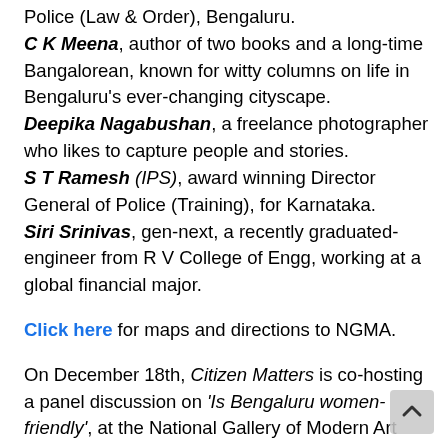Police (Law & Order), Bengaluru.
C K Meena, author of two books and a long-time Bangalorean, known for witty columns on life in Bengaluru's ever-changing cityscape.
Deepika Nagabushan, a freelance photographer who likes to capture people and stories.
S T Ramesh (IPS), award winning Director General of Police (Training), for Karnataka.
Siri Srinivas, gen-next, a recently graduated-engineer from R V College of Engg, working at a global financial major.
Click here for maps and directions to NGMA.
On December 18th, Citizen Matters is co-hosting a panel discussion on 'Is Bengaluru women-friendly', at the National Gallery of Modern Art auditorium, Vasanth Nagar. As a precursor to the event, we talked several Bengalureans...